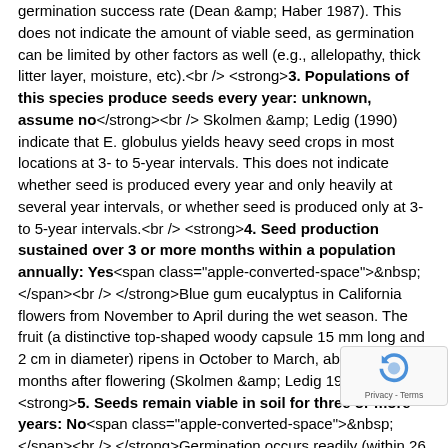germination success rate (Dean &amp; Haber 1987). This does not indicate the amount of viable seed, as germination can be limited by other factors as well (e.g., allelopathy, thick litter layer, moisture, etc).<br /> <strong>3. Populations of this species produce seeds every year: unknown, assume no</strong><br /> Skolmen &amp; Ledig (1990) indicate that E. globulus yields heavy seed crops in most locations at 3- to 5-year intervals. This does not indicate whether seed is produced every year and only heavily at several year intervals, or whether seed is produced only at 3- to 5-year intervals.<br /> <strong>4. Seed production sustained over 3 or more months within a population annually: Yes&nbsp;</strong><br /> Blue gum eucalyptus in California flowers from November to April during the wet season. The fruit (a distinctive top-shaped woody capsule 15 mm long and 2 cm in diameter) ripens in October to March, about 11 months after flowering (Skolmen &amp; Ledig 1990).<br /> <strong>5. Seeds remain viable in soil for three or more years: No&nbsp;</strong><br /> Germination occurs readily (within 26 days) after seeds are released if conditions are suitable (Skolmen &amp; Ledig 1990). When stored, seeds can remain viable for several years, but in field conditions, viable seed banks are not expected to be maintained beyond a year (Rejmanek &amp; Richardson 2011).<br /> <strong>6. Viable seed produced with both self-pollination and cross-pollination: No&nbsp;</strong><br /> When the cap covering the reproductive organs (the operculum) is shed, the anthers have mature pollen but the stigma does not become receptive until some days later. This